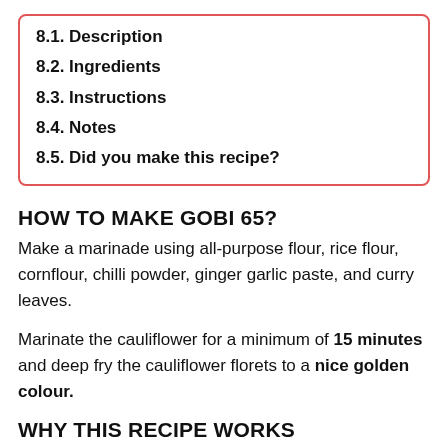8.1. Description
8.2. Ingredients
8.3. Instructions
8.4. Notes
8.5. Did you make this recipe?
HOW TO MAKE GOBI 65?
Make a marinade using all-purpose flour, rice flour, cornflour, chilli powder, ginger garlic paste, and curry leaves.
Marinate the cauliflower for a minimum of 15 minutes and deep fry the cauliflower florets to a nice golden colour.
WHY THIS RECIPE WORKS